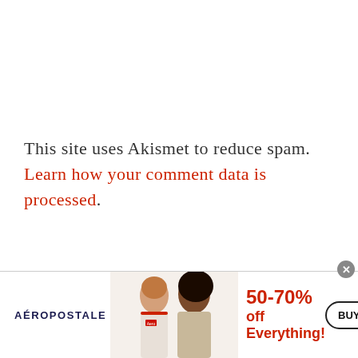This site uses Akismet to reduce spam. Learn how your comment data is processed.
[Figure (other): Aéropostale advertisement banner showing two female models, the text '50-70% off Everything!' in red, and a 'BUY NOW' button with a close (×) button in the top-right corner.]